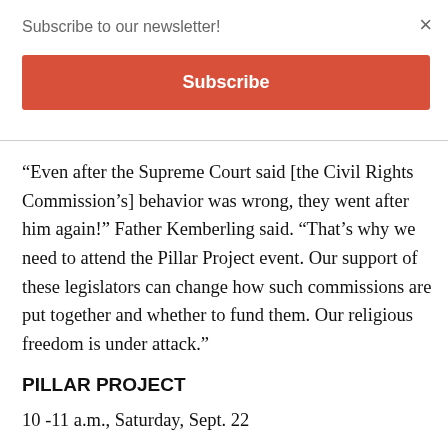Subscribe to our newsletter!
Subscribe
“Even after the Supreme Court said [the Civil Rights Commission’s] behavior was wrong, they went after him again!” Father Kemberling said. “That’s why we need to attend the Pillar Project event. Our support of these legislators can change how such commissions are put together and whether to fund them. Our religious freedom is under attack.”
PILLAR PROJECT
10 -11 a.m., Saturday, Sept. 22